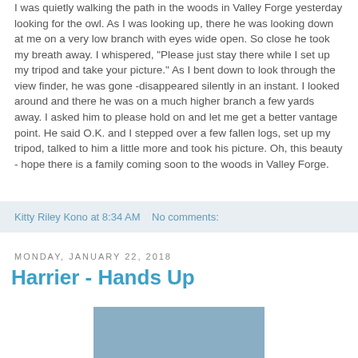I was quietly walking the path in the woods in Valley Forge yesterday looking for the owl. As I was looking up, there he was looking down at me on a very low branch with eyes wide open. So close he took my breath away. I whispered, "Please just stay there while I set up my tripod and take your picture." As I bent down to look through the view finder, he was gone -disappeared silently in an instant. I looked around and there he was on a much higher branch a few yards away. I asked him to please hold on and let me get a better vantage point. He said O.K. and I stepped over a few fallen logs, set up my tripod, talked to him a little more and took his picture. Oh, this beauty - hope there is a family coming soon to the woods in Valley Forge.
Kitty Riley Kono at 8:34 AM   No comments:
Monday, January 22, 2018
Harrier - Hands Up
[Figure (photo): Photo of a harrier bird, partially visible at bottom of page]